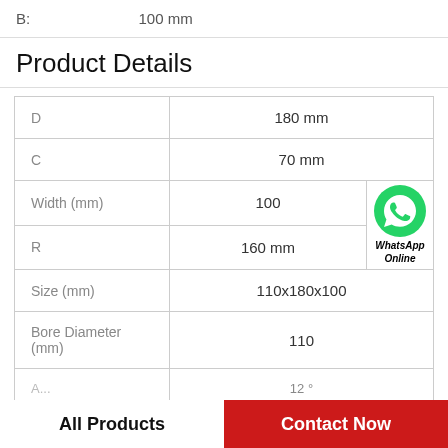B:    100 mm
Product Details
|  |  |
| --- | --- |
| D | 180 mm |
| C | 70 mm |
| Width (mm) | 100 |
| R | 160 mm |
| Size (mm) | 110x180x100 |
| Bore Diameter (mm) | 110 |
| A... | 12 ° |
[Figure (logo): WhatsApp green circle logo with phone icon and text 'WhatsApp Online']
All Products
Contact Now